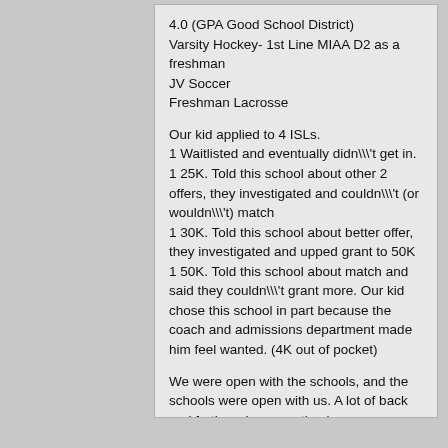4.0 (GPA Good School District)
Varsity Hockey- 1st Line MIAA D2 as a freshman
JV Soccer
Freshman Lacrosse
Our kid applied to 4 ISLs.
1 Waitlisted and eventually didn\\\\t get in.
1 25K. Told this school about other 2 offers, they investigated and couldn\\\\t (or wouldn\\\\t) match
1 30K. Told this school about better offer, they investigated and upped grant to 50K
1 50K. Told this school about match and said they couldn\\\\t grant more. Our kid chose this school in part because the coach and admissions department made him feel wanted. (4K out of pocket)
We were open with the schools, and the schools were open with us. A lot of back and forth and cooperation by everyone. Found a great landing spot, and my kid is happy with his decision.